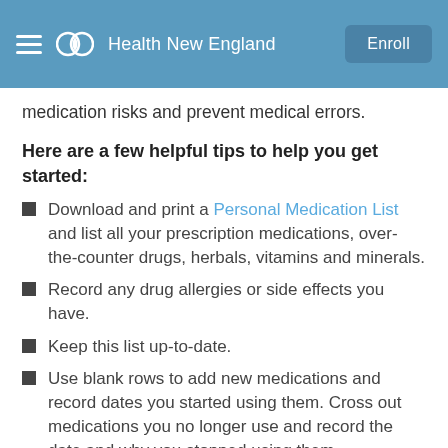Health New England | Enroll
medication risks and prevent medical errors.
Here are a few helpful tips to help you get started:
Download and print a Personal Medication List and list all your prescription medications, over-the-counter drugs, herbals, vitamins and minerals.
Record any drug allergies or side effects you have.
Keep this list up-to-date.
Use blank rows to add new medications and record dates you started using them. Cross out medications you no longer use and record the date and why you stopped using them.